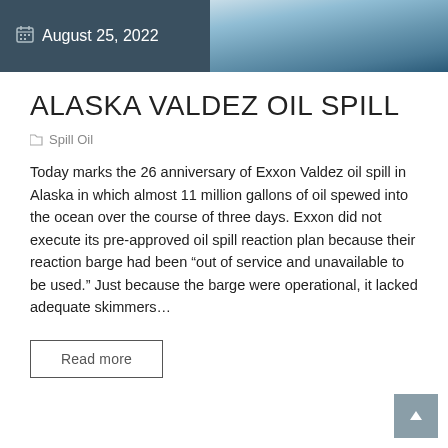August 25, 2022
ALASKA VALDEZ OIL SPILL
Spill Oil
Today marks the 26 anniversary of Exxon Valdez oil spill in Alaska in which almost 11 million gallons of oil spewed into the ocean over the course of three days. Exxon did not execute its pre-approved oil spill reaction plan because their reaction barge had been “out of service and unavailable to be used.” Just because the barge were operational, it lacked adequate skimmers...
Read more